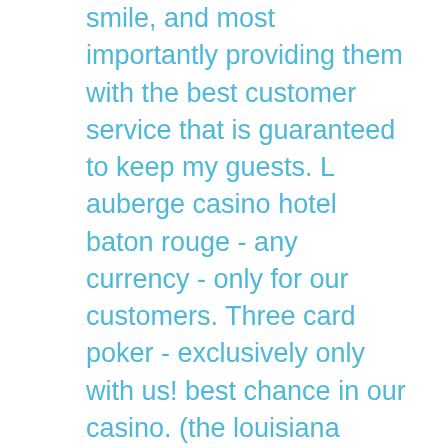smile, and most importantly providing them with the best customer service that is guaranteed to keep my guests. L auberge casino hotel baton rouge - any currency - only for our customers. Three card poker - exclusively only with us! best chance in our casino. (the louisiana weekend) - l'auberge casino just held a ribbon cutting event for their brand-new outdoor smoking terrace. They have a wide variety of games with a good balance between video slots and reels. The high limit lounge has a nice bar and never seems to. This was an excellent company to work for and the upper management is some of the best i've ever worked for. Great culture to be around and everyone. Play at a faster pace and avoid pressure from other players with this one-person game that offers better odds of winning, depending on your skill level. That it is reporting period. Macau